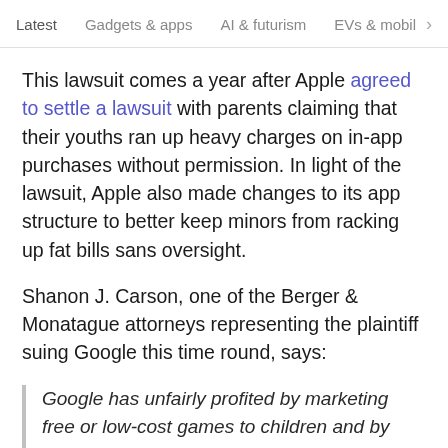Latest   Gadgets & apps   AI & futurism   EVs & mobil  >
This lawsuit comes a year after Apple agreed to settle a lawsuit with parents claiming that their youths ran up heavy charges on in-app purchases without permission. In light of the lawsuit, Apple also made changes to its app structure to better keep minors from racking up fat bills sans oversight.
Shanon J. Carson, one of the Berger & Monatague attorneys representing the plaintiff suing Google this time round, says:
Google has unfairly profited by marketing free or low-cost games to children and by permitting them to easily rack up charges for worthless in-game currency, by failing to incorporate reasonable